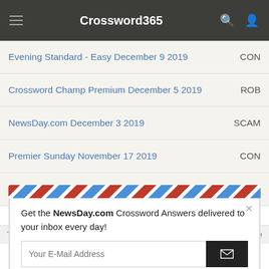Crossword365
| Puzzle | Answer |
| --- | --- |
| Evening Standard - Easy December 9 2019 | CON |
| Crossword Champ Premium December 5 2019 | ROB |
| NewsDay.com December 3 2019 | SCAM |
| Premier Sunday November 17 2019 | CON |
| Evening Standard - Easy November 14 2019 | CON |
[Figure (screenshot): Email subscription popup with airmail border styling. Text reads: 'Get the NewsDay.com Crossword Answers delivered to your inbox every day!' with an email input field and submit button.]
This website uses cookies to ensure you get the best experience on our website